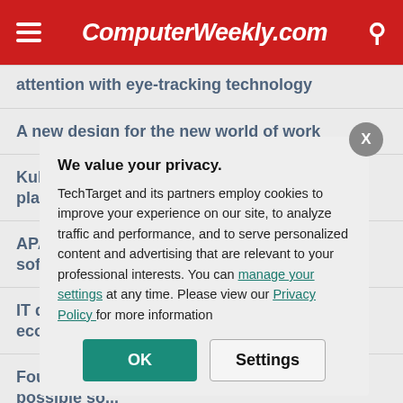ComputerWeekly.com
attention with eye-tracking technology
A new design for the new world of work
Kubernetes backup products and 10 key players
APAC buyers ... software
IT departments ... economies
Four obstacles ... possible so...
The state o... notwork
We value your privacy. TechTarget and its partners employ cookies to improve your experience on our site, to analyze traffic and performance, and to serve personalized content and advertising that are relevant to your professional interests. You can manage your settings at any time. Please view our Privacy Policy for more information